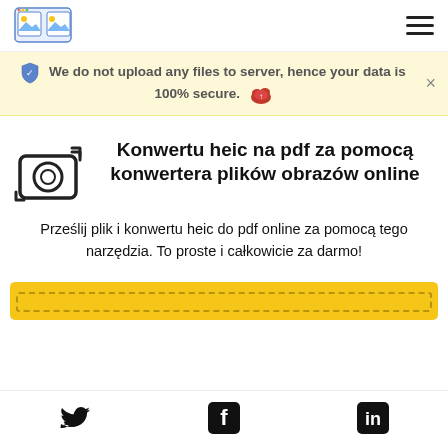[Figure (logo): App logo with two image panels icon in top left corner]
[Figure (other): Hamburger menu icon (three horizontal lines) in top right corner]
We do not upload any files to server, hence your data is 100% secure.
Konwertu heic na pdf za pomocą konwertera plików obrazów online
Prześlij plik i konwertu heic do pdf online za pomocą tego narzędzia. To proste i całkowicie za darmo!
[Figure (other): Yellow upload/drop zone button area at the bottom of main content]
[Figure (other): Social media icons: Twitter, Facebook, LinkedIn in footer]